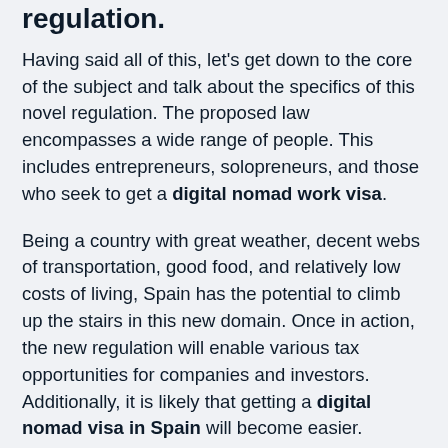regulation.
Having said all of this, let's get down to the core of the subject and talk about the specifics of this novel regulation. The proposed law encompasses a wide range of people. This includes entrepreneurs, solopreneurs, and those who seek to get a digital nomad work visa.
Being a country with great weather, decent webs of transportation, good food, and relatively low costs of living, Spain has the potential to climb up the stairs in this new domain. Once in action, the new regulation will enable various tax opportunities for companies and investors. Additionally, it is likely that getting a digital nomad visa in Spain will become easier.